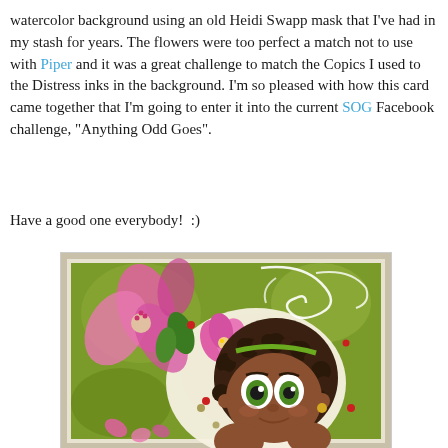watercolor background using an old Heidi Swapp mask that I've had in my stash for years. The flowers were too perfect a match not to use with Piper and it was a great challenge to match the Copics I used to the Distress inks in the background. I'm so pleased with how this card came together that I'm going to enter it into the current SOG Facebook challenge, "Anything Odd Goes".
Have a good one everybody!  :)
[Figure (illustration): A handmade greeting card featuring a cartoon girl with curly brown hair and a pink hibiscus flower, on a green watercolor background with large pink flowers and white swirls.]